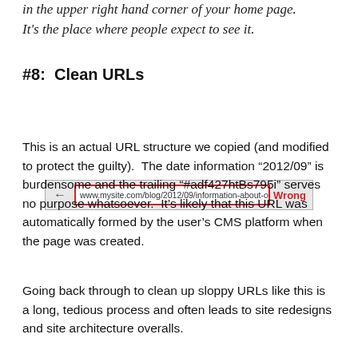in the upper right hand corner of your home page. It's the place where people expect to see it.
#8:  Clean URLs
[Figure (screenshot): Browser address bar screenshot showing a long messy URL: www.mysite.com/blog/2012/09/information-about-our-products/#adf427htBs795i with a red border and the label 'Wrong' in red text on the right.]
This is an actual URL structure we copied (and modified to protect the guilty).  The date information “2012/09” is burdensome and the trailing “#adf427htBs795i” serves no purpose whatsoever.  It’s likely that this URL was automatically formed by the user’s CMS platform when the page was created.
Going back through to clean up sloppy URLs like this is a long, tedious process and often leads to site redesigns and site architecture overalls.